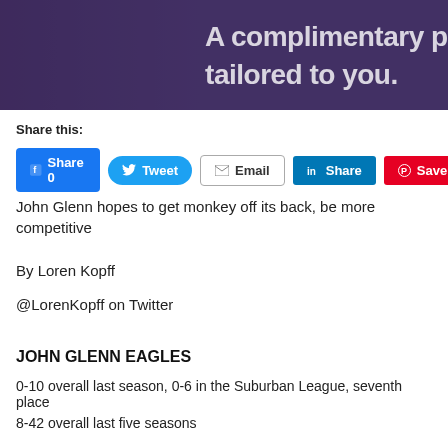[Figure (photo): Purple/dark banner advertisement with text 'A complimentary pr... tailored to you.' and a person in background]
Share this:
Share 0  Tweet  Email  Share  Save (social media buttons)
John Glenn hopes to get monkey off its back, be more competitive
By Loren Kopff
@LorenKopff on Twitter
JOHN GLENN EAGLES
0-10 overall last season, 0-6 in the Suburban League, seventh place
8-42 overall last five seasons